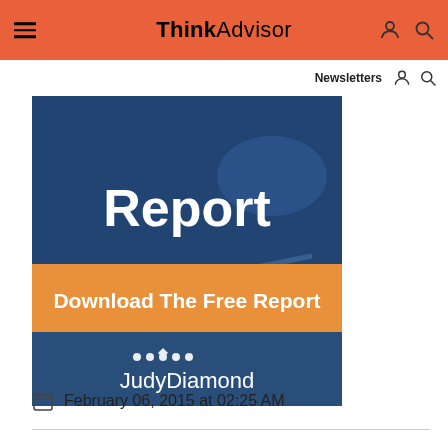ThinkAdvisor | Newsletters
[Figure (illustration): JudyDiamond free report advertisement banner. Shows 'Report' text in white over a blue-toned financial charts background. Orange banner reads 'Download The Free Report'. JudyDiamond logo at bottom.]
February 06, 2015 at 02:25 AM